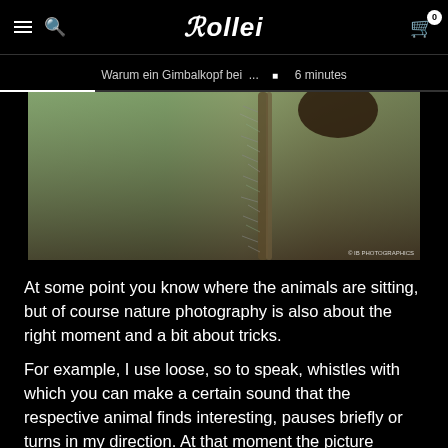Rollei
Warum ein Gimbalkopf bei ... • 6 minutes
[Figure (photo): Close-up macro photograph of a fuzzy plant stem or branch with blurred green background, with watermark '© IB PHOTOGRAPHICS']
At some point you know where the animals are sitting, but of course nature photography is also about the right moment and a bit about tricks.
For example, I use loose, so to speak, whistles with which you can make a certain sound that the respective animal finds interesting, pauses briefly or turns in my direction. At that moment the picture comes.